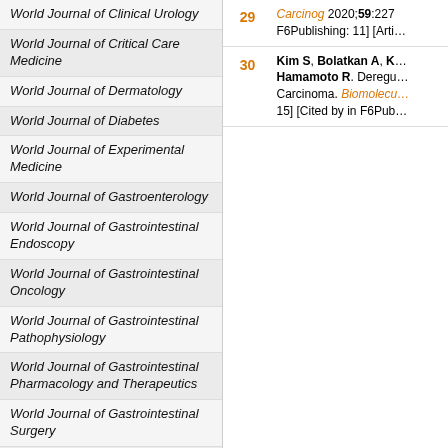World Journal of Clinical Urology
World Journal of Critical Care Medicine
World Journal of Dermatology
World Journal of Diabetes
World Journal of Experimental Medicine
World Journal of Gastroenterology
World Journal of Gastrointestinal Endoscopy
World Journal of Gastrointestinal Oncology
World Journal of Gastrointestinal Pathophysiology
World Journal of Gastrointestinal Pharmacology and Therapeutics
World Journal of Gastrointestinal Surgery
World Journal of Hematology
World Journal of Hepatology
World Journal of Hypertension
World Journal of Immunology
World Journal of Medical Genetics
| Ref | Citation |
| --- | --- |
| 29 | Carcinog 2020;59:227 F6Publishing: 11] [Arti... |
| 30 | Kim S, Bolatkan A, K... Hamamoto R. Deregu... Carcinoma. Biomolecu... 15] [Cited by in F6Pub... |